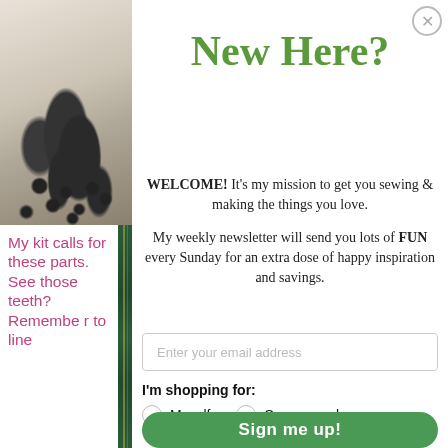[Figure (photo): Close-up photo of white lace fabric with dark floral/leaf pattern on textured background]
My kit calls for these parts. See those teeth? Remember to line
New Here?
WELCOME! It's my mission to get you sewing & making the things you love.

My weekly newsletter will send you lots of FUN every Sunday for an extra dose of happy inspiration and savings.
Enter your email address
I'm shopping for:
Myself   Someone else
Sign me up!